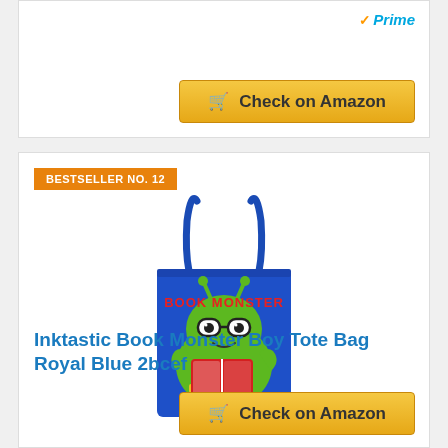[Figure (infographic): Amazon Prime badge with checkmark and blue Prime text, and a gold 'Check on Amazon' button with cart icon]
BESTSELLER NO. 12
[Figure (photo): Royal blue tote bag with 'Book Monster' cartoon alien character wearing glasses and reading a book]
Inktastic Book Monster Boy Tote Bag Royal Blue 2bcef
Check on Amazon